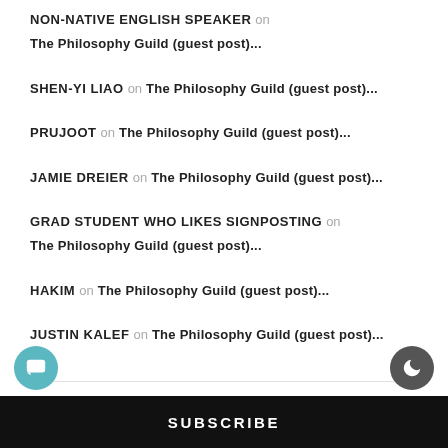NON-NATIVE ENGLISH SPEAKER on The Philosophy Guild (guest post)...
SHEN-YI LIAO on The Philosophy Guild (guest post)...
PRUJOOT on The Philosophy Guild (guest post)...
JAMIE DREIER on The Philosophy Guild (guest post)...
GRAD STUDENT WHO LIKES SIGNPOSTING on The Philosophy Guild (guest post)...
HAKIM on The Philosophy Guild (guest post)...
JUSTIN KALEF on The Philosophy Guild (guest post)...
3
SUBSCRIBE